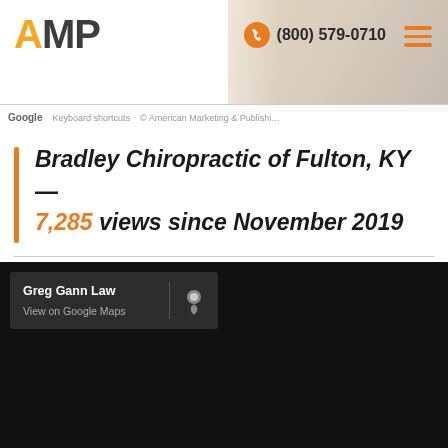[Figure (screenshot): AMP (American Marketing & Publishing) website header with logo, phone number (800) 579-0710, hamburger menu, Google Maps overlay with keyboard shortcuts and copyright notice]
Bradley Chiropractic of Fulton, KY — 7,285 views since November 2019
[Figure (screenshot): Google Maps embedded view showing dark map with Greg Gann Law popup card and View on Google Maps link with map pin icon]